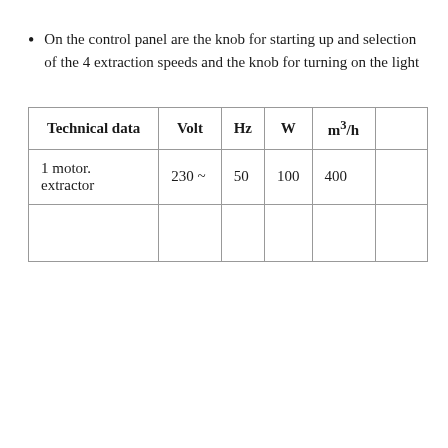On the control panel are the knob for starting up and selection of the 4 extraction speeds and the knob for turning on the light
| Technical data | Volt | Hz | W | m³/h |  |
| --- | --- | --- | --- | --- | --- |
| 1 motor. extractor | 230 ~ | 50 | 100 | 400 |  |
|  |  |  |  |  |  |